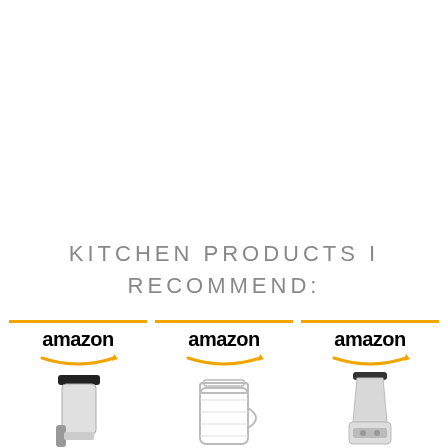KITCHEN PRODUCTS I RECOMMEND:
[Figure (infographic): Three Amazon product boxes side by side, each with an orange top border, Amazon logo with orange smile arrow, and product images below: a blender jar, a mason jar glass, and a full blender appliance.]